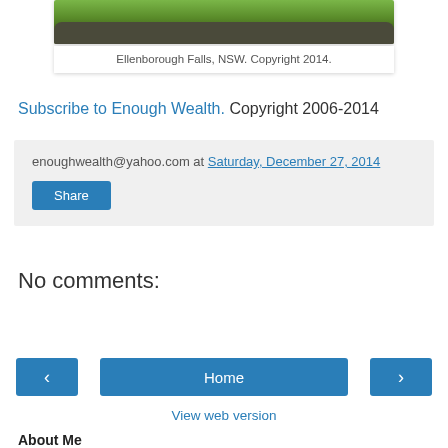[Figure (photo): Partial view of Ellenborough Falls, NSW — grass and rocks visible]
Ellenborough Falls, NSW. Copyright 2014.
Subscribe to Enough Wealth. Copyright 2006-2014
enoughwealth@yahoo.com at Saturday, December 27, 2014
Share
No comments:
Post a Comment
Home
View web version
About Me